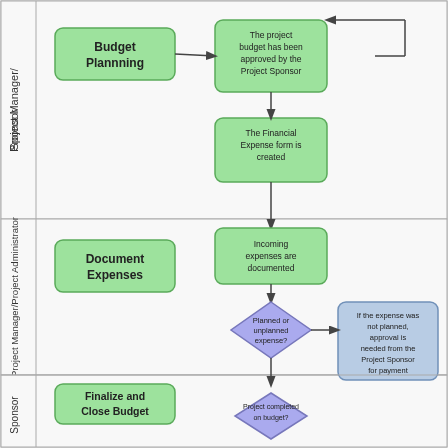[Figure (flowchart): A swimlane flowchart showing a budget expense management process. Three swimlanes: 'Project Manager/Sponsor' (top), 'Project Manager/Project Administrator' (middle), and 'Project Manager/Sponsor' (bottom). Flow: Budget Planning -> The project budget has been approved by the Project Sponsor -> The Financial Expense form is created -> Incoming expenses are documented -> Document Expenses (label). Then a diamond decision: Planned or unplanned expense? -> If unplanned: If the expense was not planned, approval is needed from the Project Sponsor for payment (which loops back). If planned: If planned, process for payment and track expenses on the Financial Expense Form -> Track Expenses (label) -> Update the Project Plan -> Project completed on budget? (diamond) -> Finalize and Close Budget (label).]